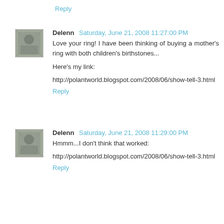Reply
Delenn  Saturday, June 21, 2008 11:27:00 PM
Love your ring! I have been thinking of buying a mother's ring with both children's birthstones...

Here's my link:

http://polantworld.blogspot.com/2008/06/show-tell-3.html
Reply
Delenn  Saturday, June 21, 2008 11:29:00 PM
Hmmm...I don't think that worked:

http://polantworld.blogspot.com/2008/06/show-tell-3.html
Reply